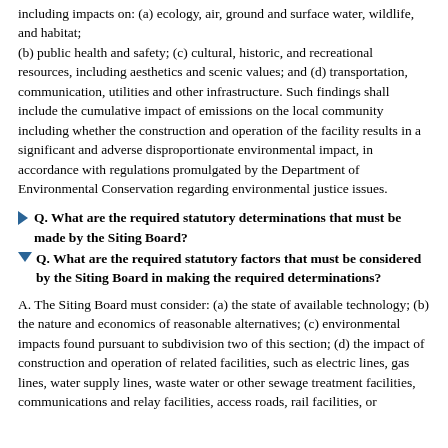including impacts on: (a) ecology, air, ground and surface water, wildlife, and habitat; (b) public health and safety; (c) cultural, historic, and recreational resources, including aesthetics and scenic values; and (d) transportation, communication, utilities and other infrastructure. Such findings shall include the cumulative impact of emissions on the local community including whether the construction and operation of the facility results in a significant and adverse disproportionate environmental impact, in accordance with regulations promulgated by the Department of Environmental Conservation regarding environmental justice issues.
Q. What are the required statutory determinations that must be made by the Siting Board?
Q. What are the required statutory factors that must be considered by the Siting Board in making the required determinations?
A. The Siting Board must consider: (a) the state of available technology; (b) the nature and economics of reasonable alternatives; (c) environmental impacts found pursuant to subdivision two of this section; (d) the impact of construction and operation of related facilities, such as electric lines, gas lines, water supply lines, waste water or other sewage treatment facilities, communications and relay facilities, access roads, rail facilities, or